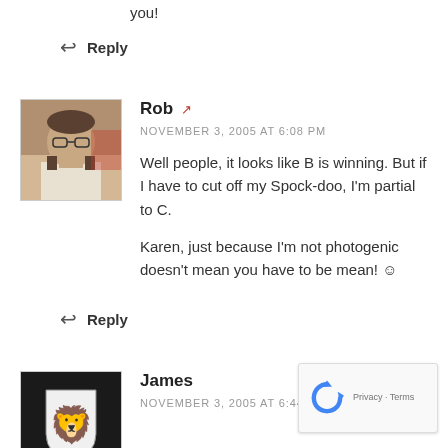you!
Reply
[Figure (photo): Avatar photo of Rob, a man with glasses and beard]
Rob
NOVEMBER 3, 2005 AT 6:08 PM
Well people, it looks like B is winning. But if I have to cut off my Spock-doo, I'm partial to C.

Karen, just because I'm not photogenic doesn't mean you have to be mean! ☺
Reply
[Figure (logo): Avatar for James showing a heraldic lion shield]
James
NOVEMBER 3, 2005 AT 6:44 PM